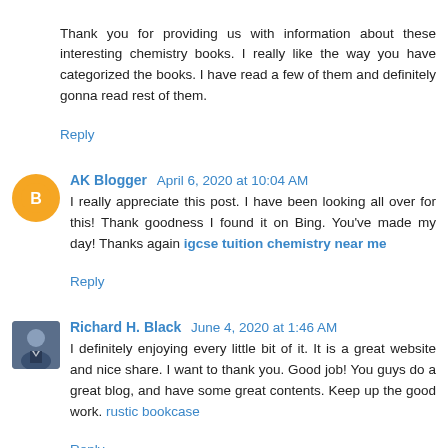Thank you for providing us with information about these interesting chemistry books. I really like the way you have categorized the books. I have read a few of them and definitely gonna read rest of them.
Reply
AK Blogger  April 6, 2020 at 10:04 AM
I really appreciate this post. I have been looking all over for this! Thank goodness I found it on Bing. You've made my day! Thanks again igcse tuition chemistry near me
Reply
Richard H. Black  June 4, 2020 at 1:46 AM
I definitely enjoying every little bit of it. It is a great website and nice share. I want to thank you. Good job! You guys do a great blog, and have some great contents. Keep up the good work. rustic bookcase
Reply